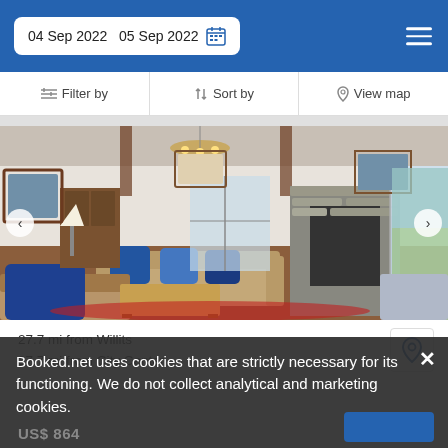04 Sep 2022   05 Sep 2022
Filter by   Sort by   View map
[Figure (photo): Interior of a vacation rental home showing a living room with a stone fireplace, blue and beige sofas, a wooden coffee table, a red patterned rug, chandelier, and wood-paneled walls. A sliding glass door leads to an outdoor area. Navigation arrows on left and right sides of image.]
27.7 mi from Willits
27.7 mi from City Center
Booked.net uses cookies that are strictly necessary for its functioning. We do not collect analytical and marketing cookies.